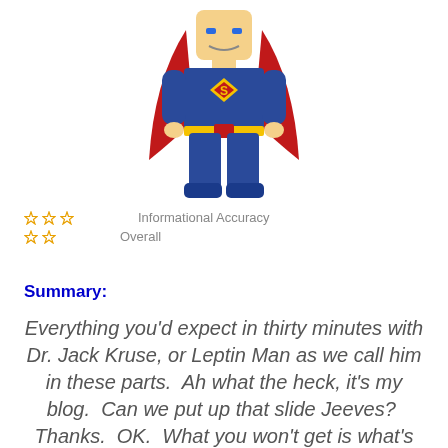[Figure (illustration): LEGO superhero minifigure wearing a blue suit with a red cape and a yellow diamond logo on the chest, facing forward]
Informational Accuracy
Overall
Summary:
Everything you'd expect in thirty minutes with Dr. Jack Kruse, or Leptin Man as we call him in these parts.  Ah what the heck, it's my blog.  Can we put up that slide Jeeves?  Thanks.  OK.  What you won't get is what's